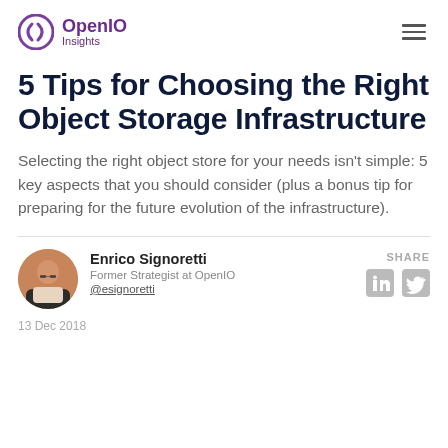OpenIO Insights
5 Tips for Choosing the Right Object Storage Infrastructure
Selecting the right object store for your needs isn't simple: 5 key aspects that you should consider (plus a bonus tip for preparing for the future evolution of the infrastructure).
Enrico Signoretti
Former Strategist at OpenIO
@esignoretti

13 Dec 2018